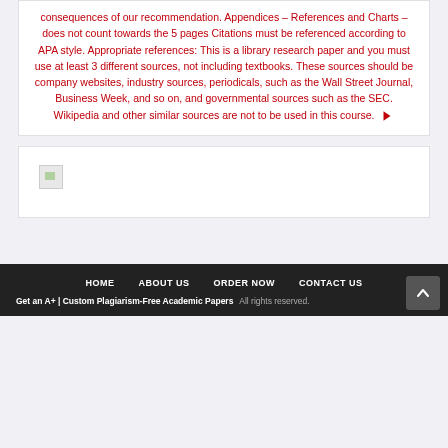consequences of our recommendation. Appendices – References and Charts – does not count towards the 5 pages Citations must be referenced according to APA style. Appropriate references: This is a library research paper and you must use at least 3 different sources, not including textbooks. These sources should be company websites, industry sources, periodicals, such as the Wall Street Journal, Business Week, and so on, and governmental sources such as the SEC. Wikipedia and other similar sources are not to be used in this course.
[Figure (other): Broken/unloaded image placeholder icon]
HOME   ABOUT US   ORDER NOW   CONTACT US
Get an A+ | Custom Plagiarism-Free Academic Papers  All rights reserved.